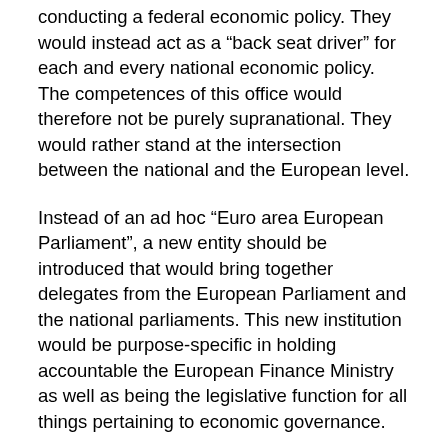conducting a federal economic policy. They would instead act as a “back seat driver” for each and every national economic policy. The competences of this office would therefore not be purely supranational. They would rather stand at the intersection between the national and the European level.
Instead of an ad hoc “Euro area European Parliament”, a new entity should be introduced that would bring together delegates from the European Parliament and the national parliaments. This new institution would be purpose-specific in holding accountable the European Finance Ministry as well as being the legislative function for all things pertaining to economic governance.
It is important to note that such an arrangement is only considered plausible under the assumption that European economic policy will not conform to a typical federal model. Should the supranational level be thoroughly reformed to make the EU a federal republic, then of